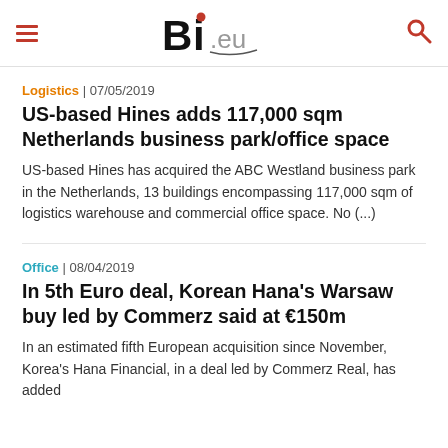Bi.eu
Logistics | 07/05/2019
US-based Hines adds 117,000 sqm Netherlands business park/office space
US-based Hines has acquired the ABC Westland business park in the Netherlands, 13 buildings encompassing 117,000 sqm of logistics warehouse and commercial office space. No (...)
Office | 08/04/2019
In 5th Euro deal, Korean Hana's Warsaw buy led by Commerz said at €150m
In an estimated fifth European acquisition since November, Korea's Hana Financial, in a deal led by Commerz Real, has added